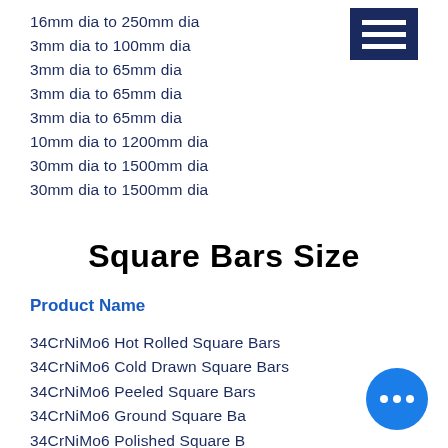16mm dia to 250mm dia
3mm dia to 100mm dia
3mm dia to 65mm dia
3mm dia to 65mm dia
3mm dia to 65mm dia
10mm dia to 1200mm dia
30mm dia to 1500mm dia
30mm dia to 1500mm dia
Square Bars Size
Product Name
34CrNiMo6 Hot Rolled Square Bars
34CrNiMo6 Cold Drawn Square Bars
34CrNiMo6 Peeled Square Bars
34CrNiMo6 Ground Square Bars
34CrNiMo6 Polished Square Bars